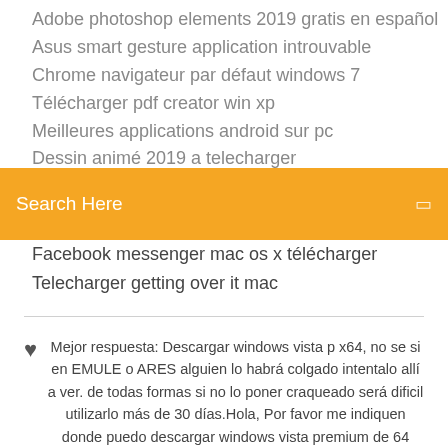Adobe photoshop elements 2019 gratis en español
Asus smart gesture application introuvable
Chrome navigateur par défaut windows 7
Télécharger pdf creator win xp
Meilleures applications android sur pc
Dessin animé 2019 a telecharger
[Figure (screenshot): Orange search bar with 'Search Here' placeholder text and a search icon on the right]
Facebook messenger mac os x télécharger
Telecharger getting over it mac
Mejor respuesta: Descargar windows vista p x64, no se si en EMULE o ARES alguien lo habrá colgado intentalo allí a ver. de todas formas si no lo poner craqueado será dificil utilizarlo más de 30 días.Hola, Por favor me indiquen donde puedo descargar windows vista premium de 64 bits.